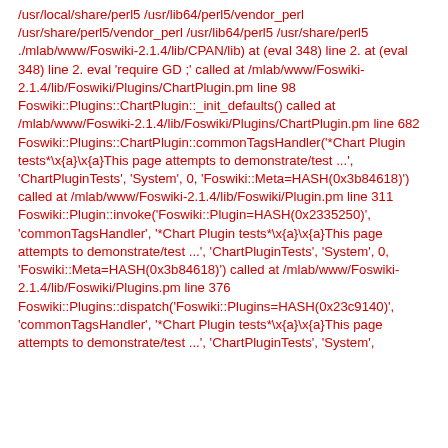/usr/local/share/perl5 /usr/lib64/perl5/vendor_perl /usr/share/perl5/vendor_perl /usr/lib64/perl5 /usr/share/perl5 ./mlab/www/Foswiki-2.1.4/lib/CPAN/lib) at (eval 348) line 2. at (eval 348) line 2. eval 'require GD ;' called at /mlab/www/Foswiki-2.1.4/lib/Foswiki/Plugins/ChartPlugin.pm line 98 Foswiki::Plugins::ChartPlugin::_init_defaults() called at /mlab/www/Foswiki-2.1.4/lib/Foswiki/Plugins/ChartPlugin.pm line 682 Foswiki::Plugins::ChartPlugin::commonTagsHandler('*Chart Plugin tests*\x{a}\x{a}This page attempts to demonstrate/test ...', 'ChartPluginTests', 'System', 0, 'Foswiki::Meta=HASH(0x3b84618)') called at /mlab/www/Foswiki-2.1.4/lib/Foswiki/Plugin.pm line 311 Foswiki::Plugin::invoke('Foswiki::Plugin=HASH(0x2335250)', 'commonTagsHandler', '*Chart Plugin tests*\x{a}\x{a}This page attempts to demonstrate/test ...', 'ChartPluginTests', 'System', 0, 'Foswiki::Meta=HASH(0x3b84618)') called at /mlab/www/Foswiki-2.1.4/lib/Foswiki/Plugins.pm line 376 Foswiki::Plugins::dispatch('Foswiki::Plugins=HASH(0x23c9140)', 'commonTagsHandler', '*Chart Plugin tests*\x{a}\x{a}This page attempts to demonstrate/test ...', 'ChartPluginTests', 'System'